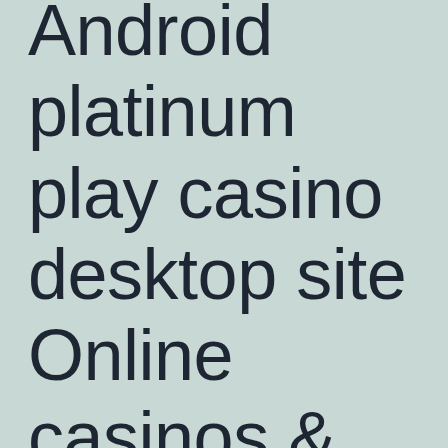Android platinum play casino desktop site Online casinos & Programs